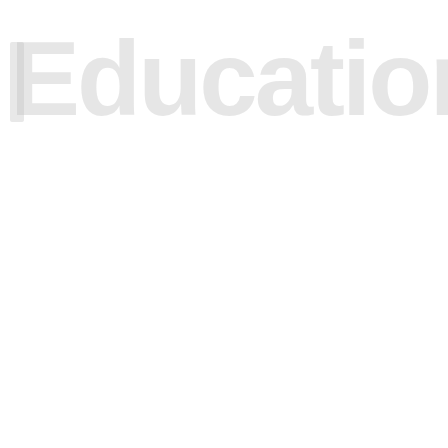[Figure (logo): Faint watermark logo text reading 'Education' or similar brand name in large light gray text on white background, nearly invisible]